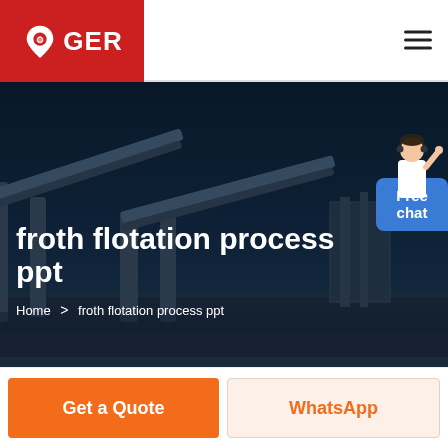[Figure (logo): GER logo — red background with white wrench/fork icon and GER text in white]
[Figure (photo): Industrial mining facility with conveyor belts against a dark blue night sky background]
froth flotation process ppt
Home > froth flotation process ppt
[Figure (illustration): Customer service representative figure with Free chat speech bubble in blue]
Get a Quote
WhatsApp